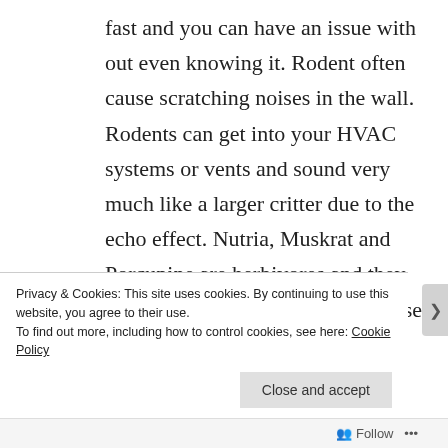fast and you can have an issue with out even knowing it. Rodent often cause scratching noises in the wall. Rodents can get into your HVAC systems or vents and sound very much like a larger critter due to the echo effect. Nutria, Muskrat and Porcupine are herbivores and they can strip riverbanks clean and cause
Privacy & Cookies: This site uses cookies. By continuing to use this website, you agree to their use.
To find out more, including how to control cookies, see here: Cookie Policy
Close and accept